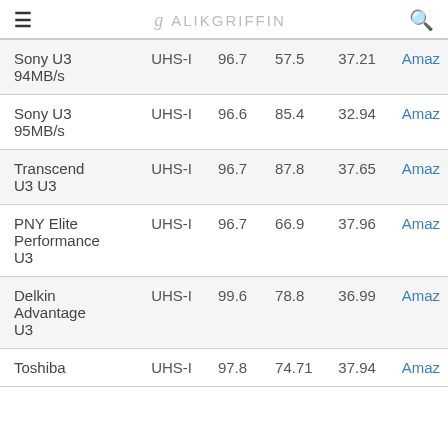ALIKGRIFFIN
| Name | Type | Read | Write | Price | Link |
| --- | --- | --- | --- | --- | --- |
| Sony U3 94MB/s | UHS-I | 96.7 | 57.5 | 37.21 | Amaz |
| Sony U3 95MB/s | UHS-I | 96.6 | 85.4 | 32.94 | Amaz |
| Transcend U3 U3 | UHS-I | 96.7 | 87.8 | 37.65 | Amaz |
| PNY Elite Performance U3 | UHS-I | 96.7 | 66.9 | 37.96 | Amaz |
| Delkin Advantage U3 | UHS-I | 99.6 | 78.8 | 36.99 | Amaz |
| Toshiba | UHS-I | 97.8 | 74.71 | 37.94 | Amaz |